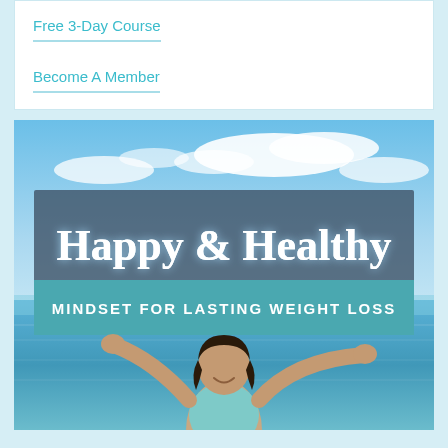Free 3-Day Course
Become A Member
[Figure (photo): Promotional banner image for 'Happy & Healthy: Mindset for Lasting Weight Loss' course. Shows a woman with arms raised joyfully on a beach with blue sky and ocean in the background. Overlay box with dark semi-transparent background contains the title 'Happy & Healthy' in large white serif font, and a teal bar below reading 'MINDSET FOR LASTING WEIGHT LOSS' in white caps.]